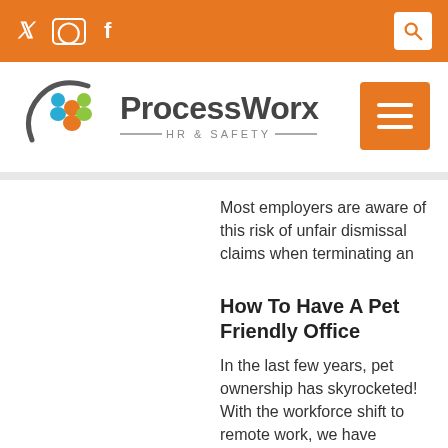ProcessWorx HR & Safety - social icons (Twitter, Instagram, Facebook) and search
[Figure (logo): ProcessWorx HR & Safety logo with colorful people icon and text]
Most employers are aware of this risk of unfair dismissal claims when terminating an
How To Have A Pet Friendly Office
In the last few years, pet ownership has skyrocketed! With the workforce shift to remote work, we have become accustomed to working alongside our pets.